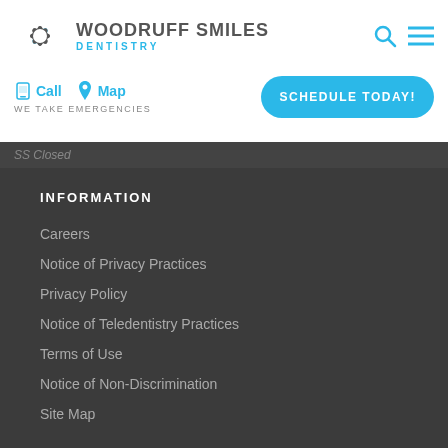[Figure (logo): Woodruff Smiles Dentistry logo with starburst icon]
Call  Map
WE TAKE EMERGENCIES
SCHEDULE TODAY!
SS Closed
INFORMATION
Careers
Notice of Privacy Practices
Privacy Policy
Notice of Teledentistry Practices
Terms of Use
Notice of Non-Discrimination
Site Map
CONNECT